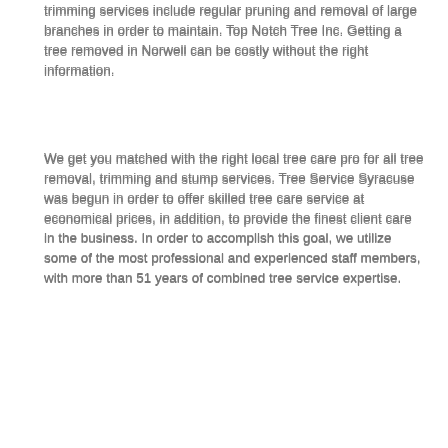trimming services include regular pruning and removal of large branches in order to maintain. Top Notch Tree Inc. Getting a tree removed in Norwell can be costly without the right information.
We get you matched with the right local tree care pro for all tree removal, trimming and stump services. Tree Service Syracuse was begun in order to offer skilled tree care service at economical prices, in addition, to provide the finest client care in the business. In order to accomplish this goal, we utilize some of the most professional and experienced staff members, with more than 51 years of combined tree service expertise.
Rear bush removal tool ford, 37201 Nashville TN
Stump remover and sugar, 22701 Culpeper VA
Pruning mesquite trees, 22712 Bealeton VA